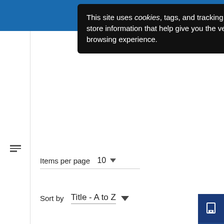[Figure (screenshot): Blue website header bar with hamburger menu icon and search icon on the right]
This site uses cookies, tags, and tracking settings to store information that help give you the very best browsing experience.
Items per page  10
Sort by  Title - A to Z
Jump to:  [input box]  Go
[Figure (screenshot): Partial book cover thumbnail showing 'Results of the 1997 Coordinated Portfolio Investment Survey' with olive/tan left side and purple right side]